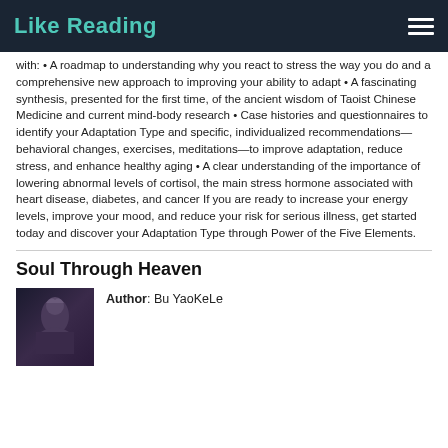Like Reading
with: • A roadmap to understanding why you react to stress the way you do and a comprehensive new approach to improving your ability to adapt • A fascinating synthesis, presented for the first time, of the ancient wisdom of Taoist Chinese Medicine and current mind-body research • Case histories and questionnaires to identify your Adaptation Type and specific, individualized recommendations—behavioral changes, exercises, meditations—to improve adaptation, reduce stress, and enhance healthy aging • A clear understanding of the importance of lowering abnormal levels of cortisol, the main stress hormone associated with heart disease, diabetes, and cancer If you are ready to increase your energy levels, improve your mood, and reduce your risk for serious illness, get started today and discover your Adaptation Type through Power of the Five Elements.
Soul Through Heaven
Author: Bu YaoKeLe
[Figure (photo): Book cover image for Soul Through Heaven showing a dark fantasy illustration]